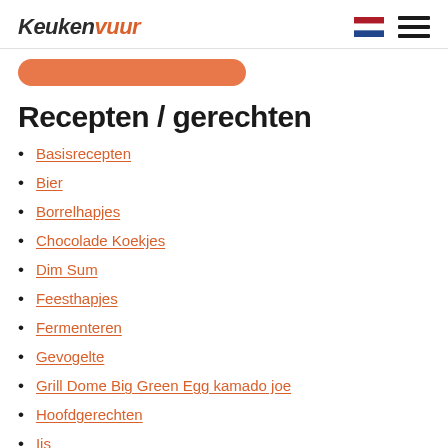Keukenvuur
Recepten / gerechten
Basisrecepten
Bier
Borrelhapjes
Chocolade Koekjes
Dim Sum
Feesthapjes
Fermenteren
Gevogelte
Grill Dome Big Green Egg kamado joe
Hoofdgerechten
Ijs
Nagerechten
Soepen